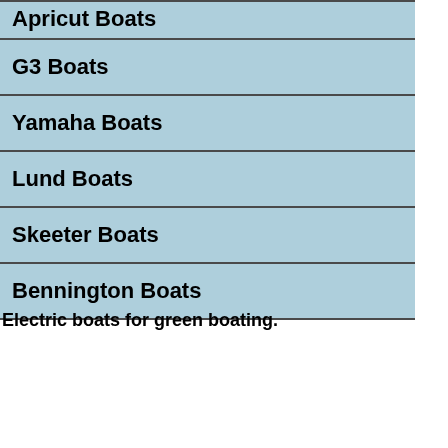Apricut Boats
G3 Boats
Yamaha Boats
Lund Boats
Skeeter Boats
Bennington Boats
Electric boats for green boating.